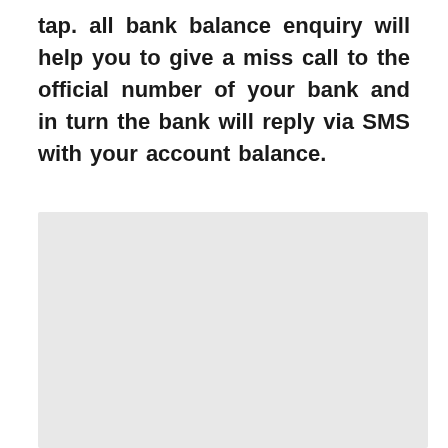tap. all bank balance enquiry will help you to give a miss call to the official number of your bank and in turn the bank will reply via SMS with your account balance.
[Figure (other): A light gray rectangular placeholder image block]